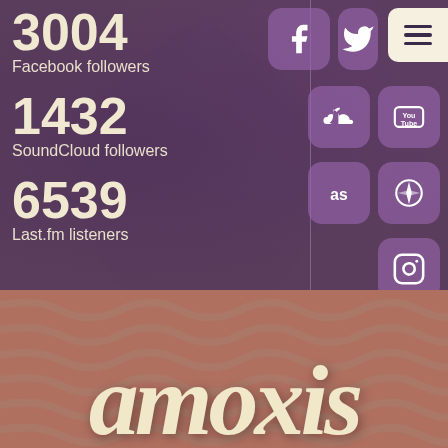3004
Facebook followers
1432
SoundCloud followers
6539
Last.fm listeners
[Figure (infographic): Social media icon buttons grid: Facebook, Twitter/bird, SoundCloud, YouTube, Last.fm (as), Rdio/compass, Instagram — purple rounded square icons arranged in a 2-column grid on the right side]
[Figure (logo): Decorative script/calligraphic logo text in cream/off-white color on a terracotta/mauve background with wavy pattern]